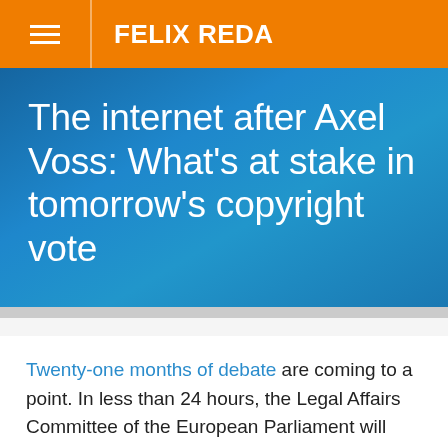FELIX REDA
The internet after Axel Voss: What’s at stake in tomorrow’s copyright vote
Twenty-one months of debate are coming to a point. In less than 24 hours, the Legal Affairs Committee of the European Parliament will decide which of these two proposals will go ahead: